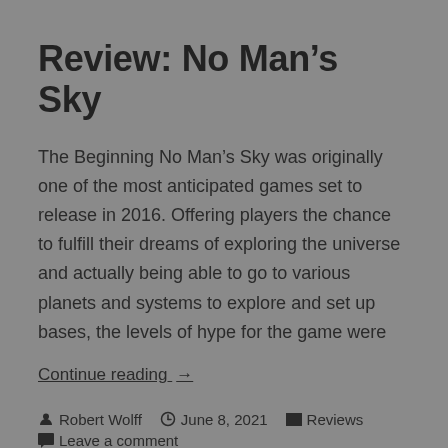Review: No Man's Sky
The Beginning No Man's Sky was originally one of the most anticipated games set to release in 2016. Offering players the chance to fulfill their dreams of exploring the universe and actually being able to go to various planets and systems to explore and set up bases, the levels of hype for the game were
Continue reading →
Robert Wolff   June 8, 2021   Reviews   Leave a comment